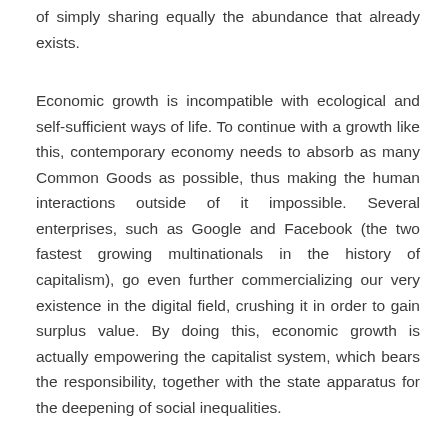of simply sharing equally the abundance that already exists.
Economic growth is incompatible with ecological and self-sufficient ways of life. To continue with a growth like this, contemporary economy needs to absorb as many Common Goods as possible, thus making the human interactions outside of it impossible. Several enterprises, such as Google and Facebook (the two fastest growing multinationals in the history of capitalism), go even further commercializing our very existence in the digital field, crushing it in order to gain surplus value. By doing this, economic growth is actually empowering the capitalist system, which bears the responsibility, together with the state apparatus for the deepening of social inequalities.